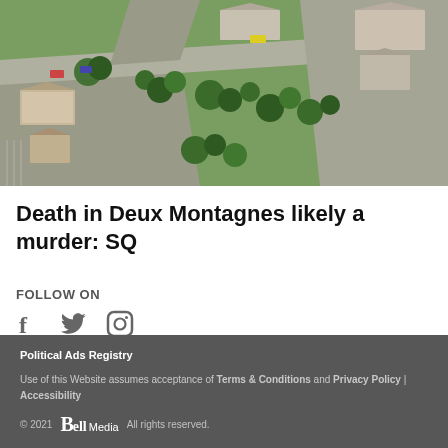[Figure (photo): Aerial/satellite view of a residential neighbourhood with houses, roads, trees and parking lots visible from above]
Death in Deux Montagnes likely a murder: SQ
FOLLOW ON
[Figure (infographic): Social media icons: Facebook, Twitter, Instagram]
Political Ads Registry
Use of this Website assumes acceptance of Terms & Conditions and Privacy Policy | Accessibility
© 2021 Bell Media All rights reserved.